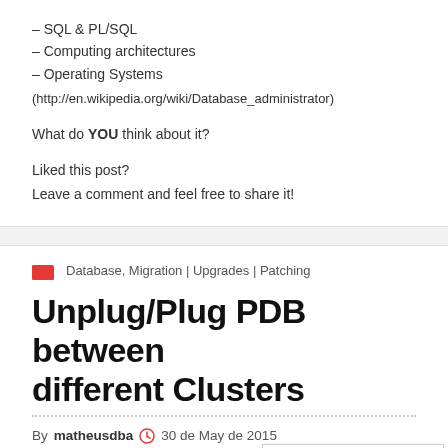– SQL & PL/SQL
– Computing architectures
– Operating Systems
(http://en.wikipedia.org/wiki/Database_administrator)
What do YOU think about it?
Liked this post?
Leave a comment and feel free to share it!
Database, Migration | Upgrades | Patching
Unplug/Plug PDB between different Clusters
By matheusdba  30 de May de 2015
acfs, cdb, container, dba, n...
Privacy & Cookies Policy